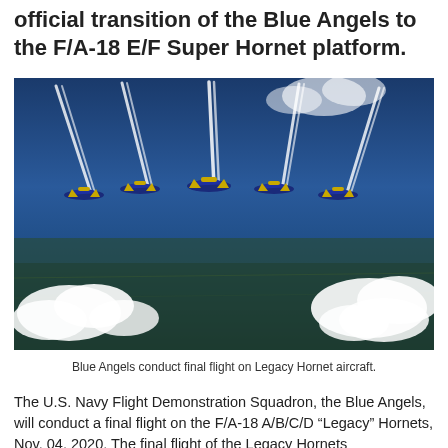official transition of the Blue Angels to the F/A-18 E/F Super Hornet platform.
[Figure (photo): Blue Angels F/A-18 Hornet jets flying in formation with white contrails against a blue sky, viewed from above with clouds and landscape visible below.]
Blue Angels conduct final flight on Legacy Hornet aircraft.
The U.S. Navy Flight Demonstration Squadron, the Blue Angels, will conduct a final flight on the F/A-18 A/B/C/D "Legacy" Hornets, Nov. 04, 2020. The final flight of the Legacy Hornets